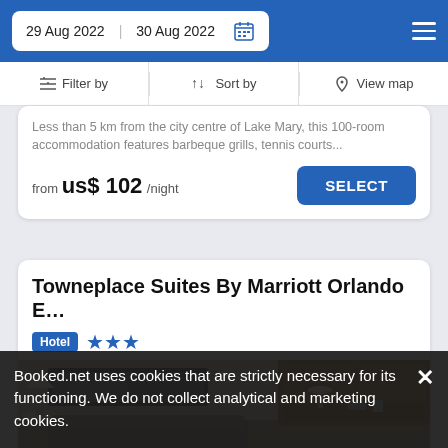29 Aug 2022  30 Aug 2022
Filter by  Sort by  View map
Less than 5 km from the city centre of Lake Mary, this 100-room accommodation features barbeque grills, tennis courts...
from  us$ 102/night  SELECT
Towneplace Suites By Marriott Orlando E…
Hotel ★★★
[Figure (photo): Hotel room interior showing a lamp, sofa/bed, framed artwork, wooden desk with lamp and phone]
Booked.net uses cookies that are strictly necessary for its functioning. We do not collect analytical and marketing cookies.